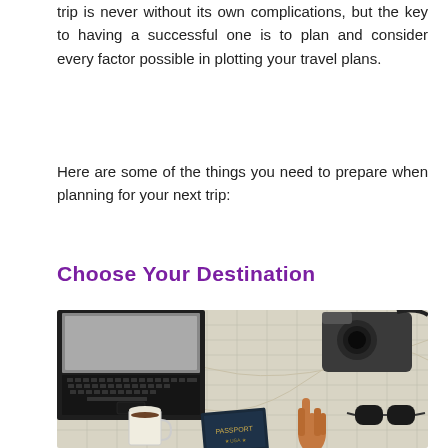trip is never without its own complications, but the key to having a successful one is to plan and consider every factor possible in plotting your travel plans.
Here are some of the things you need to prepare when planning for your next trip:
Choose Your Destination
[Figure (photo): Overhead view of a map spread on a table with a laptop (top-left), a camera with strap (top-right), a coffee cup (bottom-left), a passport (bottom-center), sunglasses (bottom-right), and a person's hand pointing at the map.]